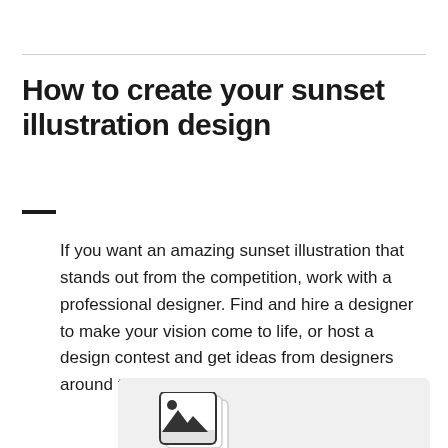How to create your sunset illustration design
If you want an amazing sunset illustration that stands out from the competition, work with a professional designer. Find and hire a designer to make your vision come to life, or host a design contest and get ideas from designers around the world.
[Figure (illustration): A design/photo gallery icon showing stacked cards with an image symbol, displayed inside a light gray card or panel at the bottom of the page]